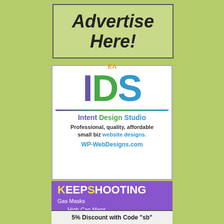[Figure (illustration): Advertisement placeholder box with text 'Advertise Here!' on green background with border]
[Figure (logo): Intent Design Studio advertisement with IDS logo letters in purple, green, blue; tagline 'Professional, quality, affordable small biz website designs. WP-WebDesigns.com']
[Figure (illustration): KeepShooting advertisement on purple background with yellow/white text listing Gas Masks, High-Cap Mags, Military Meals]
5% Discount with Code "sb"